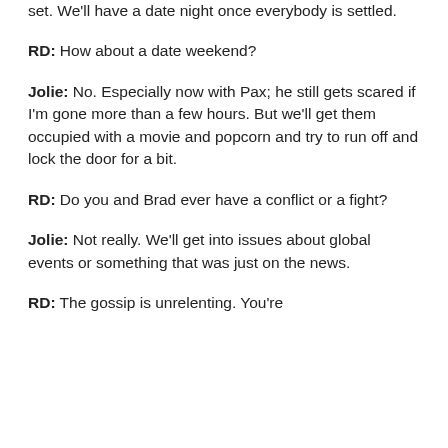set. We'll have a date night once everybody is settled.
RD: How about a date weekend?
Jolie: No. Especially now with Pax; he still gets scared if I'm gone more than a few hours. But we'll get them occupied with a movie and popcorn and try to run off and lock the door for a bit.
RD: Do you and Brad ever have a conflict or a fight?
Jolie: Not really. We'll get into issues about global events or something that was just on the news.
RD: The gossip is unrelenting. You're